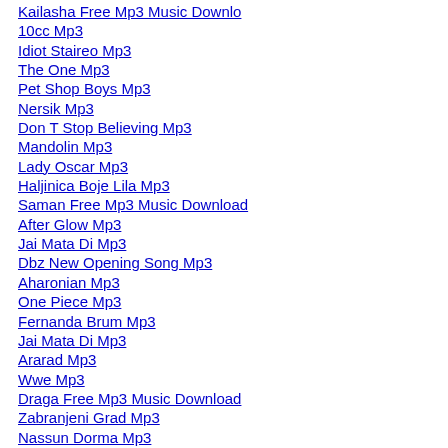Kailasha Free Mp3 Music Downlo
10cc Mp3
Idiot Staireo Mp3
The One Mp3
Pet Shop Boys Mp3
Nersik Mp3
Don T Stop Believing Mp3
Mandolin Mp3
Lady Oscar Mp3
Haljinica Boje Lila Mp3
Saman Free Mp3 Music Download
After Glow Mp3
Jai Mata Di Mp3
Dbz New Opening Song Mp3
Aharonian Mp3
One Piece Mp3
Fernanda Brum Mp3
Jai Mata Di Mp3
Ararad Mp3
Wwe Mp3
Draga Free Mp3 Music Download
Zabranjeni Grad Mp3
Nassun Dorma Mp3
Nassun Dorma Mp3
Testify Mp3